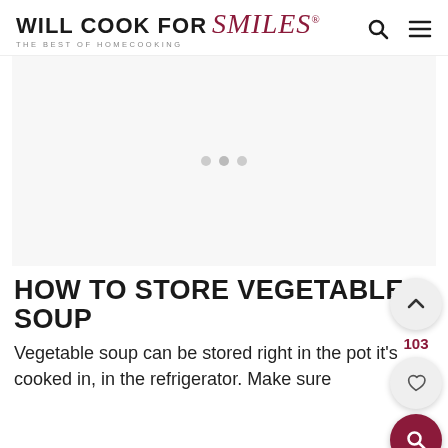WILL COOK FOR Smiles® — THE BEST OF HOMECOOKING
[Figure (other): Advertisement placeholder area with three gray dots indicating an ad carousel]
HOW TO STORE VEGETABLE SOUP
Vegetable soup can be stored right in the pot it's cooked in, in the refrigerator. Make sure